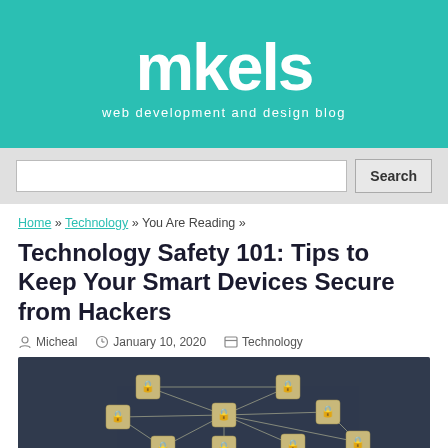mkels
web development and design blog
Search
Home » Technology » You Are Reading »
Technology Safety 101: Tips to Keep Your Smart Devices Secure from Hackers
Micheal   January 10, 2020   Technology
[Figure (photo): Dark background with wooden tile blocks connected by white lines, each tile showing a security/lock icon, arranged in a network pattern]